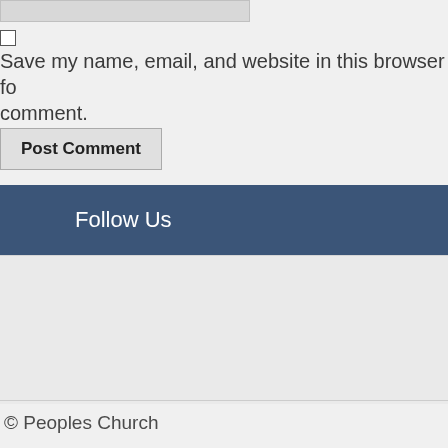Save my name, email, and website in this browser for the next time I comment.
Post Comment
Follow Us
© Peoples Church